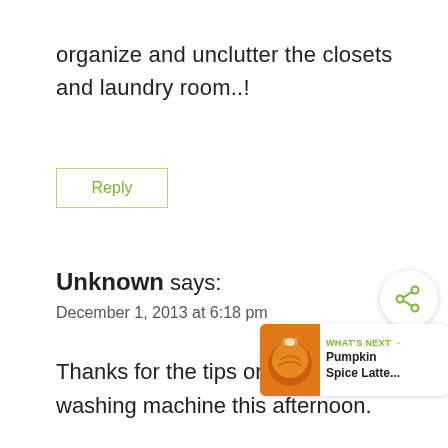organize and unclutter the closets and laundry room..!
Reply
Unknown says:
December 1, 2013 at 6:18 pm
Thanks for the tips on the washing machine maintains. I will be cleaning my washing machine this afternoon.
[Figure (other): Share icon button (circle with share symbol) and 'What's Next' overlay widget showing a Pumpkin Spice Latte thumbnail with green arrow label]